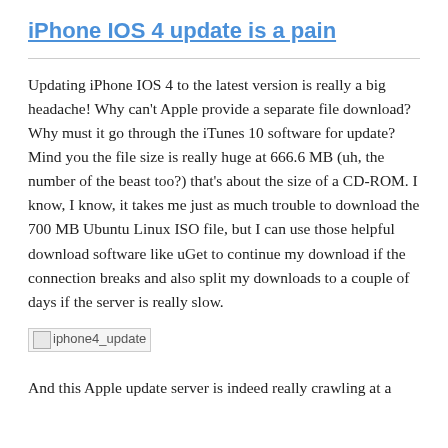iPhone IOS 4 update is a pain
Updating iPhone IOS 4 to the latest version is really a big headache! Why can't Apple provide a separate file download? Why must it go through the iTunes 10 software for update? Mind you the file size is really huge at 666.6 MB (uh, the number of the beast too?) that's about the size of a CD-ROM. I know, I know, it takes me just as much trouble to download the 700 MB Ubuntu Linux ISO file, but I can use those helpful download software like uGet to continue my download if the connection breaks and also split my downloads to a couple of days if the server is really slow.
[Figure (photo): iphone4_update image placeholder]
And this Apple update server is indeed really crawling at a